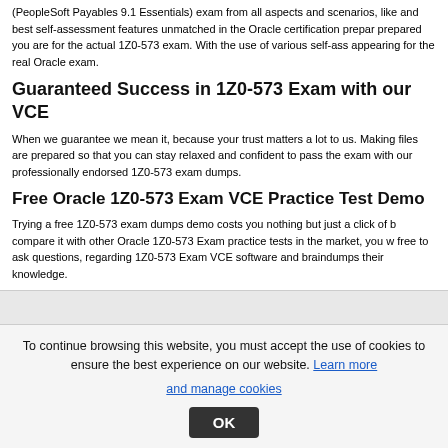(PeopleSoft Payables 9.1 Essentials) exam from all aspects and scenarios, like and best self-assessment features unmatched in the Oracle certification prepar prepared you are for the actual 1Z0-573 exam. With the use of various self-ass appearing for the real Oracle exam.
Guaranteed Success in 1Z0-573 Exam with our VCE
When we guarantee we mean it, because your trust matters a lot to us. Making files are prepared so that you can stay relaxed and confident to pass the exam with our professionally endorsed 1Z0-573 exam dumps.
Free Oracle 1Z0-573 Exam VCE Practice Test Demo
Trying a free 1Z0-573 exam dumps demo costs you nothing but just a click of b compare it with other Oracle 1Z0-573 Exam practice tests in the market, you w free to ask questions, regarding 1Z0-573 Exam VCE software and braindumps their knowledge.
Other Oracle Exams Related to 1Z0-573
To continue browsing this website, you must accept the use of cookies to ensure the best experience on our website. Learn more and manage cookies